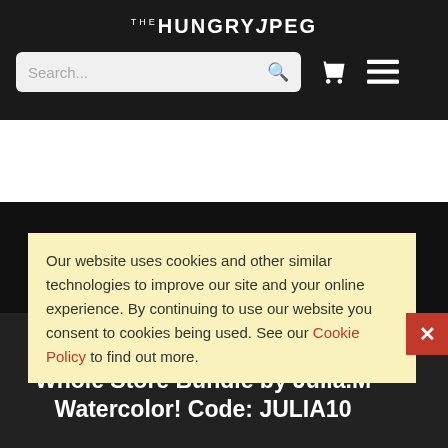THE HUNGRY JPEG
[Figure (screenshot): Search bar with magnifying glass icon, shopping cart icon, and hamburger menu icon on dark background]
Our website uses cookies and other similar technologies to improve our site and your online experience. By continuing to use our website you consent to cookies being used. See our Cookie Policy to find out more.
48 Hours Only! Get 10% Off The Whole Store Bundle by Julia.M Watercolor! Code: JULIA10